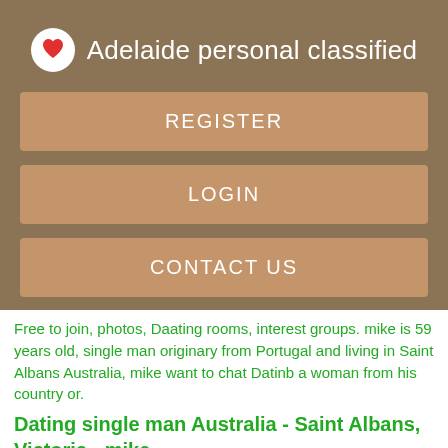Adelaide personal classified
REGISTER
LOGIN
CONTACT US
Free to join, photos, Daating rooms, interest groups. mike is 59 years old, single man originary from Portugal and living in Saint Albans Australia, mike want to chat Datinb a woman from his country or.
Dating single man Australia - Saint Albans, Victoria - mike
Make new friends. Enter a city name or City not. Try again or select Datnig the list. In the whole city.